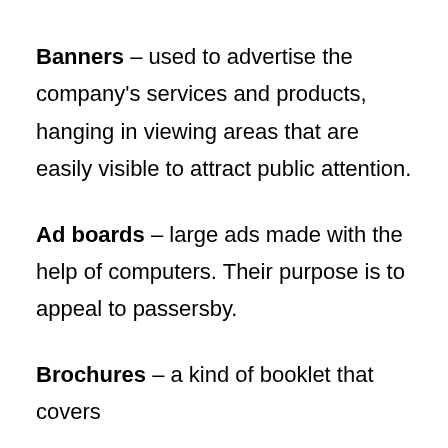Banners – used to advertise the company's services and products, hanging in viewing areas that are easily visible to attract public attention.
Ad boards – large ads made with the help of computers. Their purpose is to appeal to passersby.
Brochures – a kind of booklet that covers